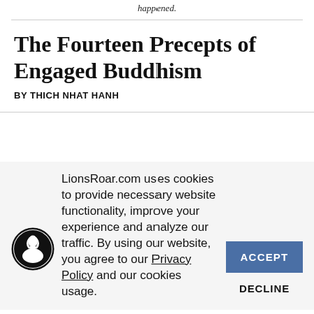happened.
The Fourteen Precepts of Engaged Buddhism
BY THICH NHAT HANH
LionsRoar.com uses cookies to provide necessary website functionality, improve your experience and analyze our traffic. By using our website, you agree to our Privacy Policy and our cookies usage.
ACCEPT
DECLINE